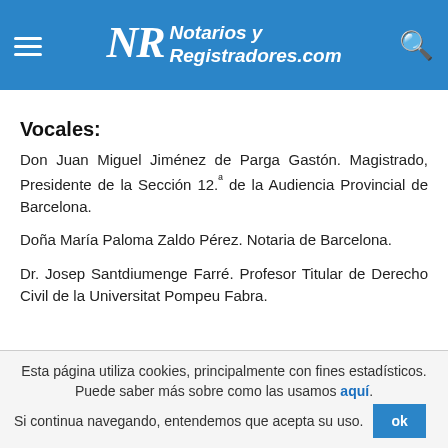Notarios y Registradores.com
[partial text cut off at top]
Vocales:
Don Juan Miguel Jiménez de Parga Gastón. Magistrado, Presidente de la Sección 12.ª de la Audiencia Provincial de Barcelona.
Doña María Paloma Zaldo Pérez. Notaria de Barcelona.
Dr. Josep Santdiumenge Farré. Profesor Titular de Derecho Civil de la Universitat Pompeu Fabra.
Esta página utiliza cookies, principalmente con fines estadísticos. Puede saber más sobre como las usamos aquí. Si continua navegando, entendemos que acepta su uso.